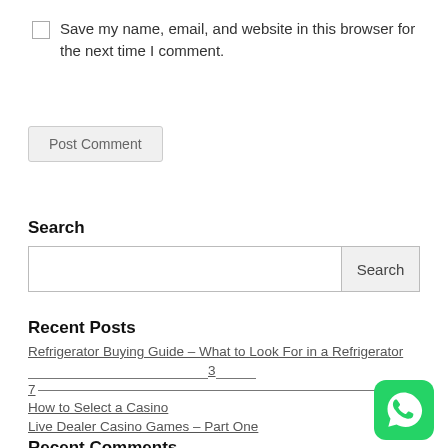Save my name, email, and website in this browser for the next time I comment.
Post Comment
Search
Search
Recent Posts
Refrigerator Buying Guide – What to Look For in a Refrigerator 3 7
How to Select a Casino
Live Dealer Casino Games – Part One
Recent Comments
[Figure (logo): WhatsApp green logo icon]